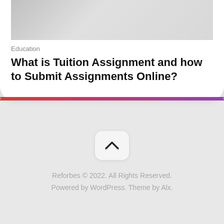[Figure (photo): Partial top image, cut off at the top of the page, showing a gray/silver background]
Education
What is Tuition Assignment and how to Submit Assignments Online?
[Figure (other): Scroll-to-top button with upward chevron arrow icon]
Reforbes © 2022. All Rights Reserved. Powered by WordPress. Theme by Alx.